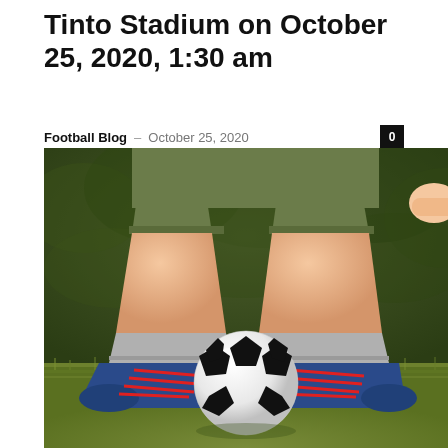…playing game at Rio Tinto Stadium on October 25, 2020, 1:30 am
Football Blog – October 25, 2020
[Figure (photo): A child wearing olive/khaki shorts and blue sneakers with red laces and grey socks, dribbling a black-and-white soccer ball on green grass, photographed from knees down with a blurred green hedge background.]